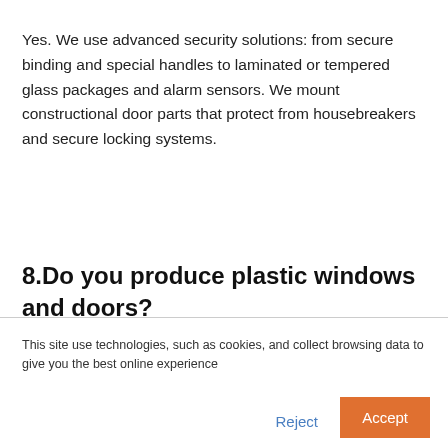Yes. We use advanced security solutions: from secure binding and special handles to laminated or tempered glass packages and alarm sensors. We mount constructional door parts that protect from housebreakers and secure locking systems.
8.Do you produce plastic windows and doors?
This site use technologies, such as cookies, and collect browsing data to give you the best online experience